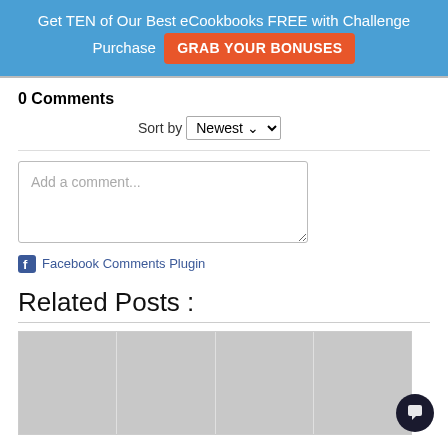Get TEN of Our Best eCookbooks FREE with Challenge Purchase  GRAB YOUR BONUSES
0 Comments
Sort by Newest
Add a comment...
Facebook Comments Plugin
Related Posts :
[Figure (other): Four grey placeholder image boxes for related posts]